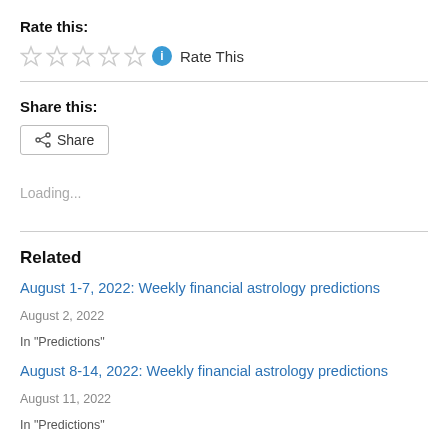Rate this:
[Figure (other): Five empty star rating icons followed by a blue info icon and 'Rate This' text]
Share this:
[Figure (other): Share button with share icon and 'Share' label]
Loading...
Related
August 1-7, 2022: Weekly financial astrology predictions
August 2, 2022
In "Predictions"
August 8-14, 2022: Weekly financial astrology predictions
August 11, 2022
In "Predictions"